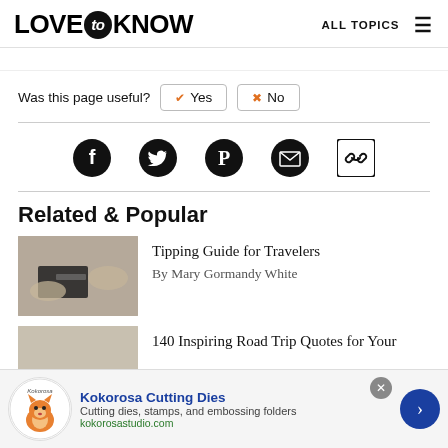LOVE to KNOW — ALL TOPICS
Was this page useful?  ✓ Yes  ✗ No
[Figure (infographic): Social sharing icons row: Facebook, Twitter, Pinterest, Email, Link]
Related & Popular
[Figure (photo): Thumbnail photo showing hands exchanging cash with a wallet]
Tipping Guide for Travelers
By Mary Gormandy White
[Figure (photo): Thumbnail photo partially visible for second article]
140 Inspiring Road Trip Quotes for Your
[Figure (infographic): Kokorosa Cutting Dies advertisement banner with logo, description, and call-to-action arrow]